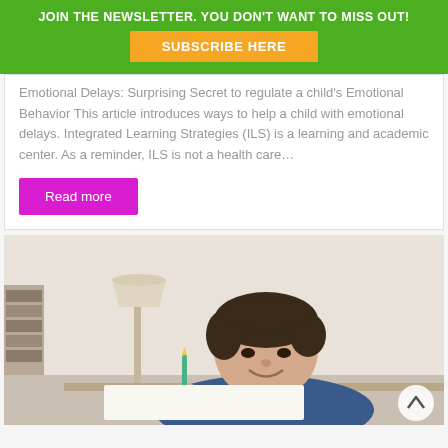JOIN THE NEWSLETTER. YOU DON'T WANT TO MISS OUT!
SUBSCRIBE HERE
Emotional Delays: Surprising Secret to regulate a child's Emotional Behavior This article introduces ways to help a child with emotional delays. Integrated Learning Strategies (ILS) is a learning and academic center. As a reminder, ILS is not a health care…
Read more
[Figure (photo): A young boy smiling while doing homework/writing at a desk, wearing a denim jacket, with a lamp and bookshelf in the background.]